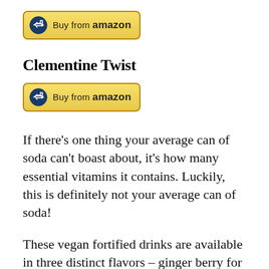[Figure (other): Buy from Amazon button with Amazon logo icon on golden yellow background]
Clementine Twist
[Figure (other): Buy from Amazon button with Amazon logo icon on golden yellow background]
If there’s one thing your average can of soda can’t boast about, it’s how many essential vitamins it contains. Luckily, this is definitely not your average can of soda!
These vegan fortified drinks are available in three distinct flavors – ginger berry for the lovers of spicy sweetness, clementine for the